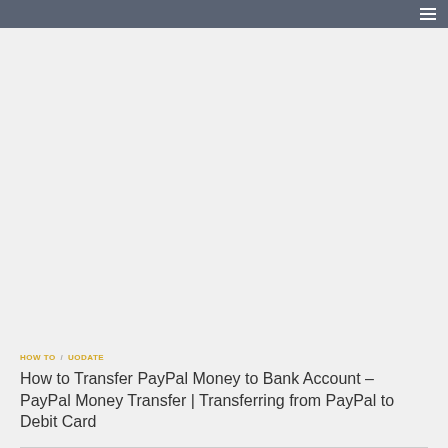HOW TO / UODATE
How to Transfer PayPal Money to Bank Account – PayPal Money Transfer | Transferring from PayPal to Debit Card